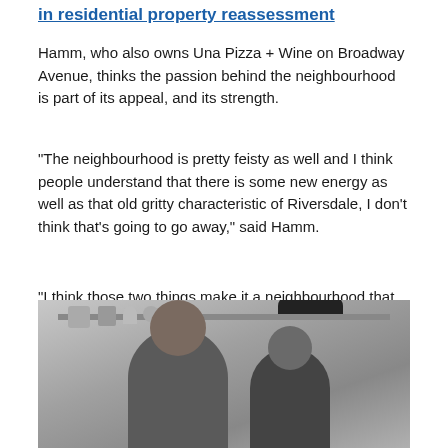in residential property reassessment
Hamm, who also owns Una Pizza + Wine on Broadway Avenue, thinks the passion behind the neighbourhood is part of its appeal, and its strength.
"The neighbourhood is pretty feisty as well and I think people understand that there is some new energy as well as that old gritty characteristic of Riversdale, I don't think that's going to go away," said Hamm.
"I think those two things make it a neighbourhood that can persevere, I think, through some of those downturns."
[Figure (photo): Two people standing in what appears to be a kitchen or restaurant interior, with shelving visible in the background. One person on the right is wearing a dark cap.]